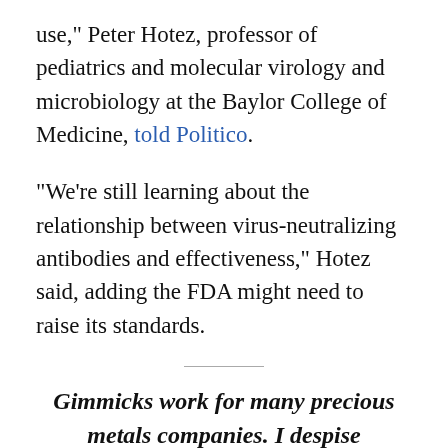use,” Peter Hotez, professor of pediatrics and molecular virology and microbiology at the Baylor College of Medicine, told Politico.
“We’re still learning about the relationship between virus-neutralizing antibodies and effectiveness,” Hotez said, adding the FDA might need to raise its standards.
Gimmicks work for many precious metals companies. I despise